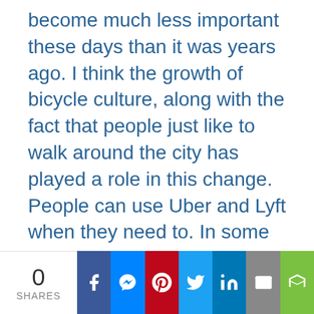become much less important these days than it was years ago. I think the growth of bicycle culture, along with the fact that people just like to walk around the city has played a role in this change. People can use Uber and Lyft when they need to. In some neighborhoods, parking spots are a low priority. However, in certain parts of the city, like Dupont Circle, Georgetown, parking is a priority. People looking at condos generally want one of two things; either they want something that's layered with amenities like a concierge, and the 24-hour front desk attendant. They want a communal roof deck